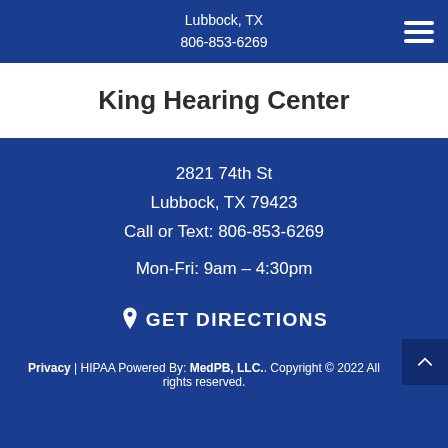Lubbock, TX
806-853-6269
King Hearing Center
2821 74th St
Lubbock, TX 79423
Call or Text: 806-853-6269

Mon-Fri: 9am – 4:30pm
GET DIRECTIONS
Privacy | HIPAA Powered By: MedPB, LLC.. Copyright © 2022 All rights reserved.